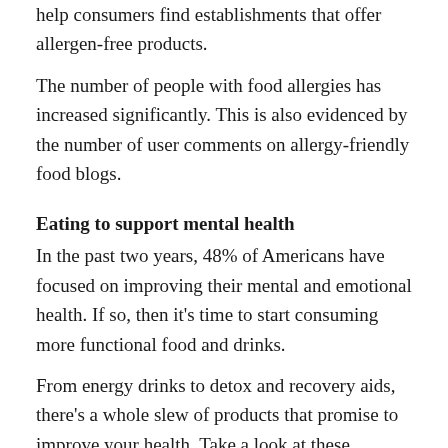help consumers find establishments that offer allergen-free products.
The number of people with food allergies has increased significantly. This is also evidenced by the number of user comments on allergy-friendly food blogs.
Eating to support mental health
In the past two years, 48% of Americans have focused on improving their mental and emotional health. If so, then it’s time to start consuming more functional food and drinks.
From energy drinks to detox and recovery aids, there’s a whole slew of products that promise to improve your health. Take a look at these products and accept that a new healthy ritual is just a part of a whole wellness